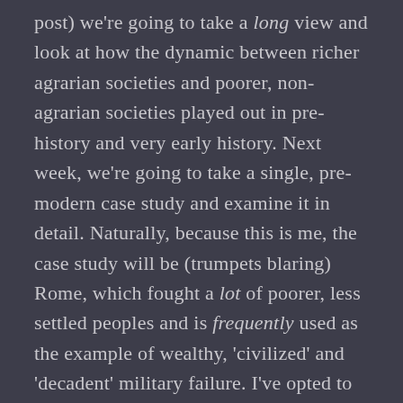post) we're going to take a long view and look at how the dynamic between richer agrarian societies and poorer, non-agrarian societies played out in pre-history and very early history. Next week, we're going to take a single, pre-modern case study and examine it in detail. Naturally, because this is me, the case study will be (trumpets blaring) Rome, which fought a lot of poorer, less settled peoples and is frequently used as the example of wealthy, 'civilized' and 'decadent' military failure. I've opted to pick these two sets of examples to start out because these periods – classical antiquity and pre-history – ought to be the periods where our Fremen perform the best, as the technological and industrial gap between them and their richer 'civilized' opponents is the smallest – in some cases, practically non-existent.